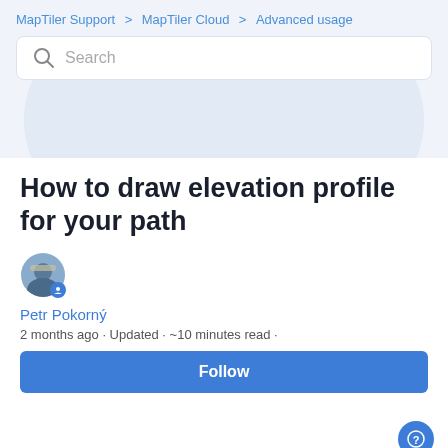MapTiler Support > MapTiler Cloud > Advanced usage
[Figure (other): Search bar with magnifying glass icon and placeholder text 'Search']
How to draw elevation profile for your path
[Figure (photo): Author avatar photo of Petr Pokorný with blue badge icon]
Petr Pokorný
2 months ago · Updated · ~10 minutes read ·
Follow